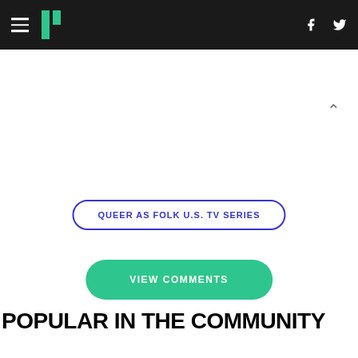HuffPost navigation bar with hamburger menu, logo, Facebook and Twitter icons
QUEER AS FOLK U.S. TV SERIES
VIEW COMMENTS
POPULAR IN THE COMMUNITY